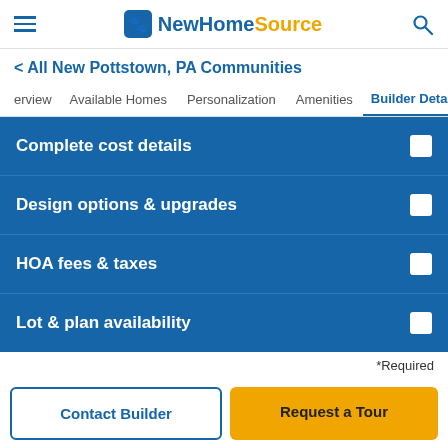NewHomeSource
< All New Pottstown, PA Communities
Overview | Available Homes | Personalization | Amenities | Builder Detail >
Complete cost details
Design options & upgrades
HOA fees & taxes
Lot & plan availability
*Required
Full Name*
Contact Builder
Request a Tour